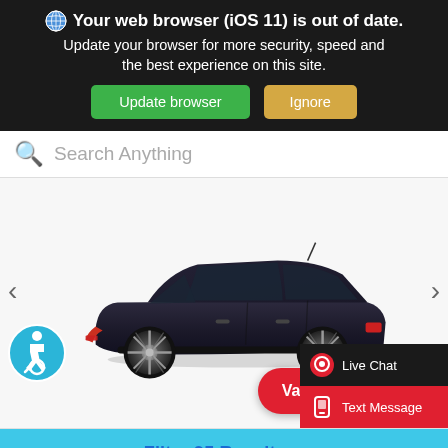Your web browser (iOS 11) is out of date. Update your browser for more security, speed and the best experience on this site.
Update browser
Ignore
Search Anything
[Figure (photo): Dark navy blue Toyota Corolla Hybrid sedan shown from the side profile view on a white background, with a carousel navigation showing left and right arrows and an accessibility badge on the lower left.]
Value Your Trade
Live Chat
Text Message
Filter 95 Results ∧